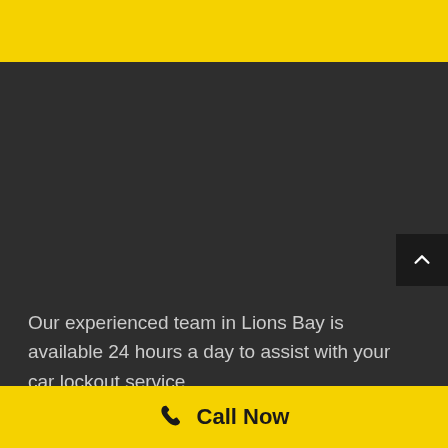About our car lockout service Process
Our experienced team in Lions Bay is available 24 hours a day to assist with your car lockout service
Call Now